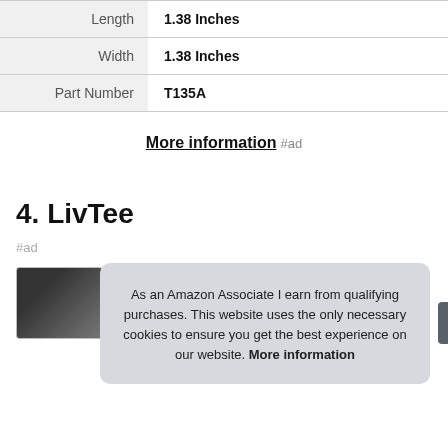| Attribute | Value |
| --- | --- |
| Length | 1.38 Inches |
| Width | 1.38 Inches |
| Part Number | T135A |
More information #ad
4. LivTee
#ad
[Figure (photo): Product image, partially visible at bottom of page]
As an Amazon Associate I earn from qualifying purchases. This website uses the only necessary cookies to ensure you get the best experience on our website. More information